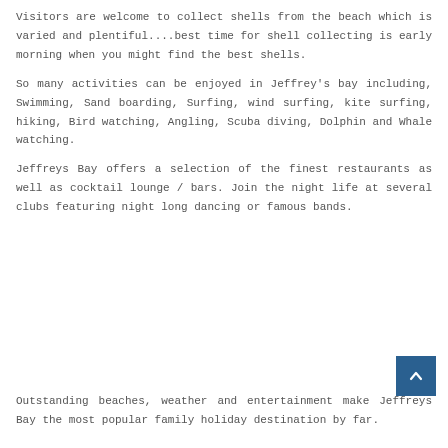Visitors are welcome to collect shells from the beach which is varied and plentiful....best time for shell collecting is early morning when you might find the best shells.
So many activities can be enjoyed in Jeffrey's bay including, Swimming, Sand boarding, Surfing, wind surfing, kite surfing, hiking, Bird watching, Angling, Scuba diving, Dolphin and Whale watching.
Jeffreys Bay offers a selection of the finest restaurants as well as cocktail lounge / bars. Join the night life at several clubs featuring night long dancing or famous bands.
Outstanding beaches, weather and entertainment make Jeffreys Bay the most popular family holiday destination by far.